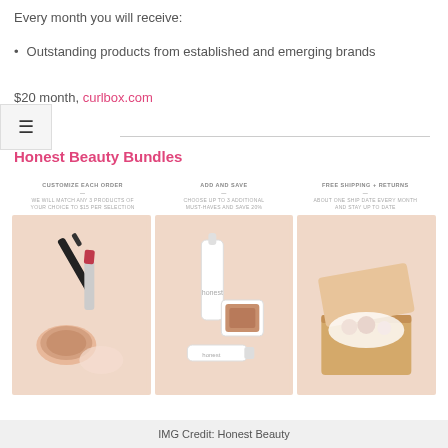Every month you will receive:
Outstanding products from established and emerging brands
$20 month, curlbox.com
Honest Beauty Bundles
[Figure (photo): Three product panels showing: Customize Each Order with beauty products, Add and Save with skincare items, Free Shipping + Returns with a box of products. Each panel features beauty/cosmetic products on a pink background.]
IMG Credit: Honest Beauty